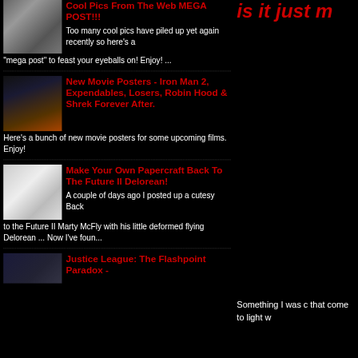Cool Pics From The Web MEGA POST!!!
Too many cool pics have piled up yet again recently so here's a "mega post" to feast your eyeballs on! Enjoy! ...
New Movie Posters - Iron Man 2, Expendables, Losers, Robin Hood & Shrek Forever After.
Here's a bunch of new movie posters for some upcoming films. Enjoy!
Make Your Own Papercraft Back To The Future II Delorean!
A couple of days ago I posted up a cutesy Back to the Future II Marty McFly with his little deformed flying Delorean ... Now I've foun...
Justice League: The Flashpoint Paradox -
is it just m
Something I was c that come to light w